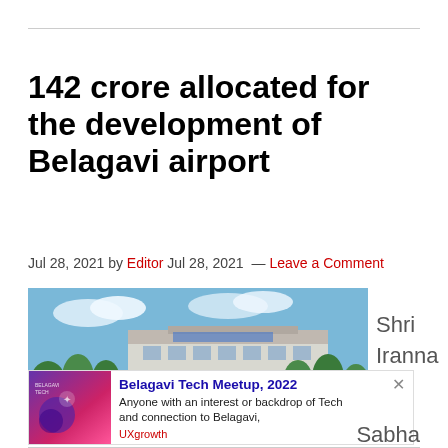142 crore allocated for the development of Belagavi airport
Jul 28, 2021 by Editor Jul 28, 2021 — Leave a Comment
[Figure (photo): Exterior view of Belagavi airport building with trees in foreground and people walking]
Shri Iranna
[Figure (infographic): Belagavi Tech Meetup 2022 promotional popup with purple/pink background and event description. Anyone with an interest or backdrop of Tech and connection to Belagavi, UXgrowth]
Sabha